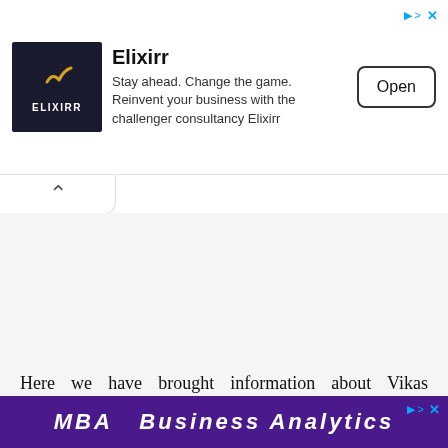[Figure (screenshot): Advertisement banner for Elixirr consultancy. Shows Elixirr logo (dark background with checkmark and ELIXIRR text), brand name 'Elixirr', tagline 'Stay ahead. Change the game. Reinvent your business with the challenger consultancy Elixirr', and an 'Open' button. Sponsored icons (arrow and X) in top right.]
Here we have brought information about Vikas Parashar's Net Worth as of 2022.
[Figure (screenshot): Bottom advertisement banner with purple background showing partial text 'MBA Business Analytics' in white italic bold letters.]